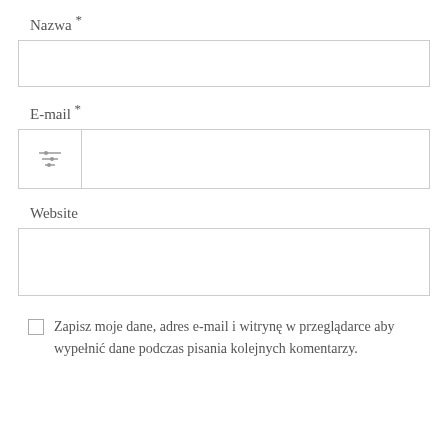Nazwa *
[Figure (other): Empty text input field for Nazwa (Name)]
E-mail *
[Figure (other): Text input field for E-mail with a filter/settings icon on the left side]
Website
[Figure (other): Empty text input field for Website]
Zapisz moje dane, adres e-mail i witrynę w przeglądarce aby wypełnić dane podczas pisania kolejnych komentarzy.